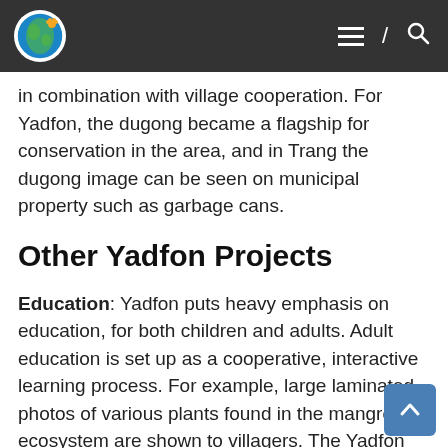Yadfon navigation header
in combination with village cooperation. For Yadfon, the dugong became a flagship for conservation in the area, and in Trang the dugong image can be seen on municipal property such as garbage cans.
Other Yadfon Projects
Education: Yadfon puts heavy emphasis on education, for both children and adults. Adult education is set up as a cooperative, interactive learning process. For example, large laminated photos of various plants found in the mangrove ecosystem are shown to villagers. The Yadfon teachers